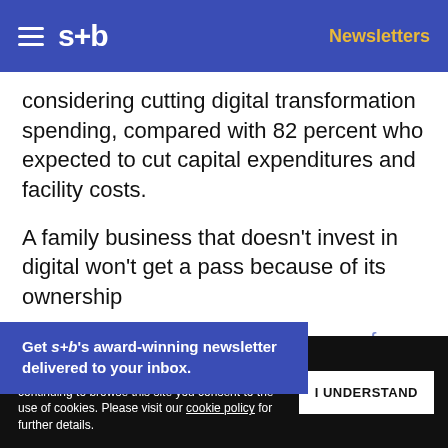s+b | Newsletters
considering cutting digital transformation spending, compared with 82 percent who expected to cut capital expenditures and facility costs.
A family business that doesn’t invest in digital won’t get a pass because of its ownership structure or a reliance on old ways of working. [family businesses] are already reaping
Get s+b’s award-winning newsletter delivered to your inbox.
We use cookies to personalize content and to provide you with an improved user experience. By continuing to browse this site you consent to the use of cookies. Please visit our cookie policy for further details.